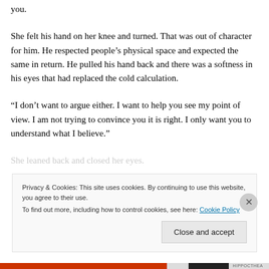you.
She felt his hand on her knee and turned. That was out of character for him. He respected people's physical space and expected the same in return. He pulled his hand back and there was a softness in his eyes that had replaced the cold calculation.
“I don’t want to argue either. I want to help you see my point of view. I am not trying to convince you it is right. I only want you to understand what I believe.”
She leaned back and closed her eyes.
Privacy & Cookies: This site uses cookies. By continuing to use this website, you agree to their use.
To find out more, including how to control cookies, see here: Cookie Policy
Close and accept